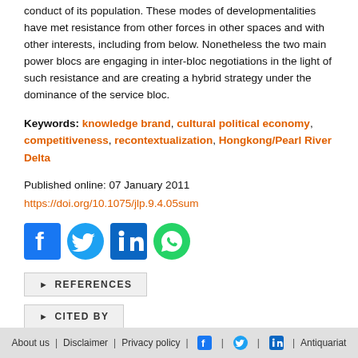conduct of its population. These modes of developmentalities have met resistance from other forces in other spaces and with other interests, including from below. Nonetheless the two main power blocs are engaging in inter-bloc negotiations in the light of such resistance and are creating a hybrid strategy under the dominance of the service bloc.
Keywords: knowledge brand, cultural political economy, competitiveness, recontextualization, Hongkong/Pearl River Delta
Published online: 07 January 2011
https://doi.org/10.1075/jlp.9.4.05sum
[Figure (other): Social media share icons: Facebook, Twitter, LinkedIn, WhatsApp]
REFERENCES
CITED BY
About us | Disclaimer | Privacy policy | [Facebook] | [Twitter] | [LinkedIn] | Antiquariat